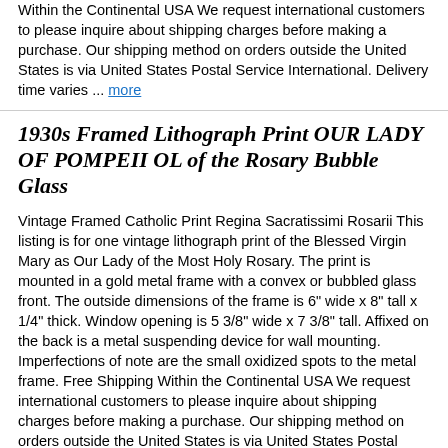Within the Continental USA We request international customers to please inquire about shipping charges before making a purchase. Our shipping method on orders outside the United States is via United States Postal Service International. Delivery time varies ... more
1930s Framed Lithograph Print OUR LADY OF POMPEII OL of the Rosary Bubble Glass
Vintage Framed Catholic Print Regina Sacratissimi Rosarii This listing is for one vintage lithograph print of the Blessed Virgin Mary as Our Lady of the Most Holy Rosary. The print is mounted in a gold metal frame with a convex or bubbled glass front. The outside dimensions of the frame is 6" wide x 8" tall x 1/4" thick. Window opening is 5 3/8" wide x 7 3/8" tall. Affixed on the back is a metal suspending device for wall mounting. Imperfections of note are the small oxidized spots to the metal frame. Free Shipping Within the Continental USA We request international customers to please inquire about shipping charges before making a purchase. Our shipping method on orders outside the United States is via United States Postal Service International. Delivery time varies depending on customs and destination. Most orders ... more
Antique A House Blessing Framed Lithograph Print Cherry Blossom & Jesus Image FF
Antique A House Blessing Framed Lithograph Print Cherry Blossom& Jesus Image Description: Antique'A House Blessing' Framed Lithograph Print. It is framed in a gold frame. The litho print has a spray of Cherry Blossom flowers on the left, an image of Jesus on top middle, signed CRT lower left corner. and the poem: A House Blessing' God bless the